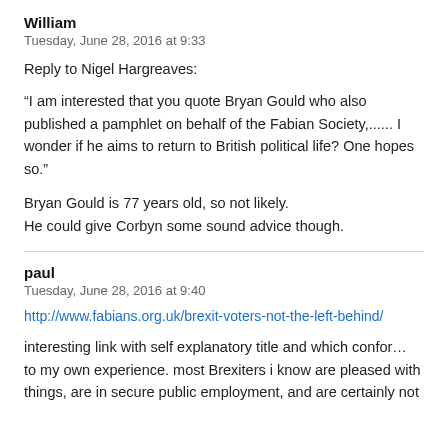William
Tuesday, June 28, 2016 at 9:33
Reply to Nigel Hargreaves:
“I am interested that you quote Bryan Gould who also published a pamphlet on behalf of the Fabian Society,...... I wonder if he aims to return to British political life? One hopes so.”
Bryan Gould is 77 years old, so not likely.
He could give Corbyn some sound advice though.
paul
Tuesday, June 28, 2016 at 9:40
http://www.fabians.org.uk/brexit-voters-not-the-left-behind/
interesting link with self explanatory title and which conforms to my own experience. most Brexiters i know are pleased with things, are in secure public employment, and are certainly not